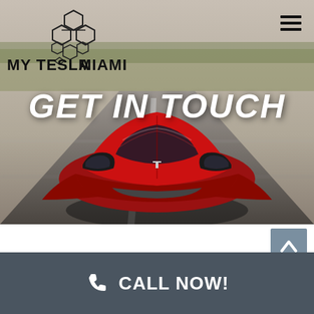[Figure (photo): Red Tesla Roadster sports car driving head-on down a desert road with motion blur, serving as hero background image]
MY TESLA MIAMI
GET IN TOUCH
[Figure (other): Back-to-top button with upward chevron arrow on grey-blue background]
CALL NOW!